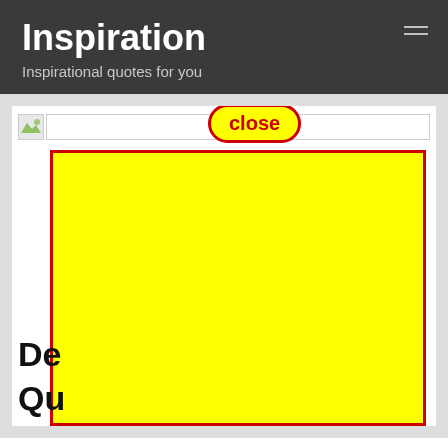Inspiration
Inspirational quotes for you
[Figure (screenshot): A webpage screenshot showing a close button (red bordered yellow pill button labeled 'close') overlaid on a broken image placeholder and a large yellow rectangle with red border covering most of the content card. Partially visible bold text 'De' and 'Qu' appear beneath the yellow overlay.]